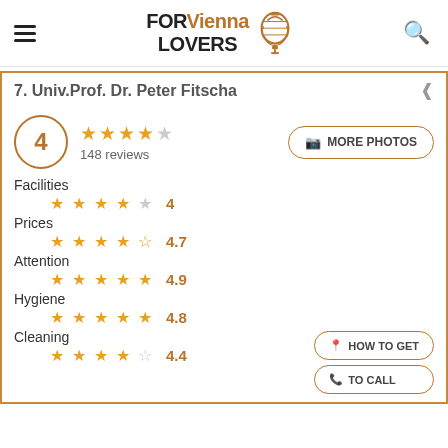FOR Vienna LOVERS
7. Univ.Prof. Dr. Peter Fitscha
4 — 148 reviews
MORE PHOTOS
Facilities — 4 stars — 4
Prices — 4.5 stars — 4.7
Attention — 5 stars — 4.9
Hygiene — 5 stars — 4.8
Cleaning — 4 stars — 4.4
HOW TO GET
TO CALL